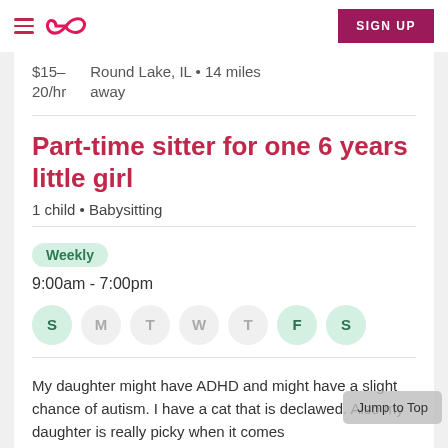Navigation bar with hamburger menu, Sittercity logo, and SIGN UP button
$15–20/hr    Round Lake, IL • 14 miles away
Part-time sitter for one 6 years little girl
1 child • Babysitting
Weekly
9:00am - 7:00pm
S M T W T F S
My daughter might have ADHD and might have a slight chance of autism. I have a cat that is declawed. Also my daughter is really picky when it comes